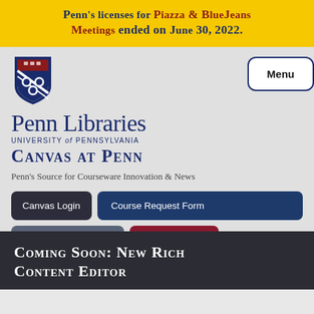Penn's licenses for Piazza & BlueJeans Meetings ended on June 30, 2022.
[Figure (logo): University of Pennsylvania shield logo]
Penn Libraries University of Pennsylvania
Canvas at Penn
Penn's Source for Courseware Innovation & News
Canvas Login
Course Request Form
Check System Status
Open Canvas
Coming Soon: New Rich Content Editor